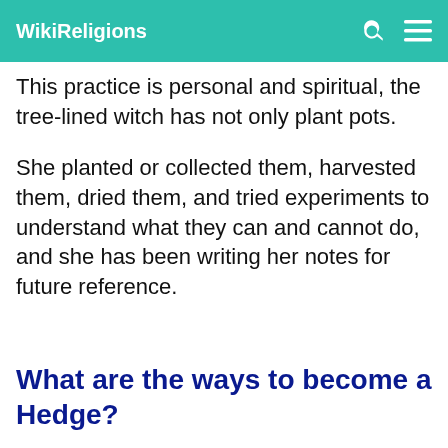WikiReligions
This practice is personal and spiritual, the tree-lined witch has not only plant pots.
She planted or collected them, harvested them, dried them, and tried experiments to understand what they can and cannot do, and she has been writing her notes for future reference.
What are the ways to become a Hedge?
The hedge witch has more than just a tradition